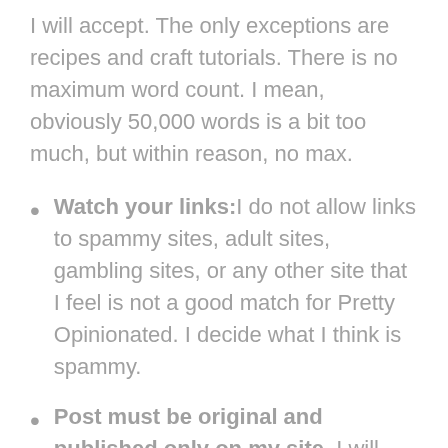I will accept. The only exceptions are recipes and craft tutorials. There is no maximum word count. I mean, obviously 50,000 words is a bit too much, but within reason, no max.
Watch your links: I do not allow links to spammy sites, adult sites, gambling sites, or any other site that I feel is not a good match for Pretty Opinionated. I decide what I think is spammy.
Post must be original and published only on my site. I will check for duplicate content through Copyscape. I also